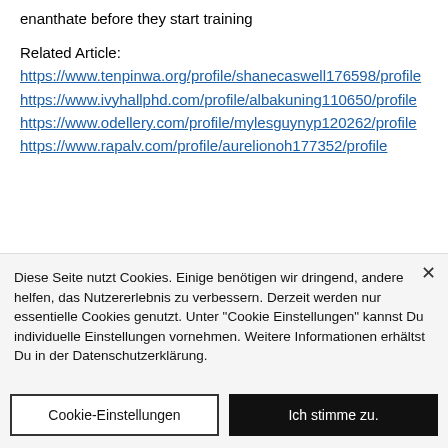enanthate before they start training
Related Article:
https://www.tenpinwa.org/profile/shanecaswell176598/profile
https://www.ivyhallphd.com/profile/albakuning110650/profile
https://www.odellery.com/profile/mylesguynyp120262/profile
https://www.rapalv.com/profile/aurelionoh177352/profile
Diese Seite nutzt Cookies. Einige benötigen wir dringend, andere helfen, das Nutzererlebnis zu verbessern. Derzeit werden nur essentielle Cookies genutzt. Unter "Cookie Einstellungen" kannst Du individuelle Einstellungen vornehmen. Weitere Informationen erhältst Du in der Datenschutzerklärung.
Cookie-Einstellungen
Ich stimme zu.